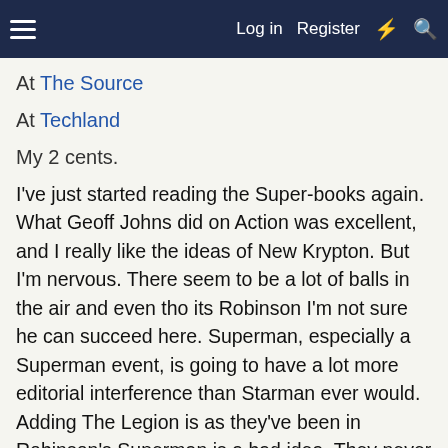Log in  Register
At The Source
At Techland
My 2 cents.
I've just started reading the Super-books again. What Geoff Johns did on Action was excellent, and I really like the ideas of New Krypton. But I'm nervous. There seem to be a lot of balls in the air and even tho its Robinson I'm not sure he can succeed here. Superman, especially a Superman event, is going to have a lot more editorial interference than Starman ever would. Adding The Legion is as they've been in Robinson's Superman is a bad idea. They never work well in the 20th century. In addition there are only 2 possible endings. One where New Krypton is destroyed and all the new Kryptonians are dead in which we went through 3 years of story to get back to our starting point or they survive in which Superman is no where near Unique in the DCU. And the Kryptonians just hang over the